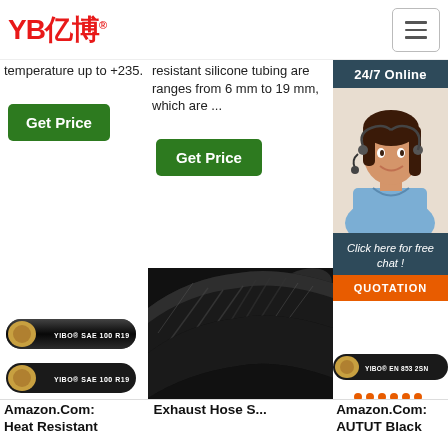[Figure (logo): YB亿博 logo in red with registered trademark symbol, and a hamburger menu button on the right]
temperature up to +235.
resistant silicone tubing are ranges from 6 mm to 19 mm, which are ...
[Figure (illustration): 24/7 Online banner with customer service agent photo, Click here for free chat!, and QUOTATION button]
Get Price
Get Price
[Figure (photo): Two YIBO SAE 100 R19 hydraulic hoses stacked]
[Figure (photo): Close-up of a black exhaust/hydraulic hose]
[Figure (photo): YIBO EN 853 2SN hydraulic hose with TOP button]
Amazon.Com: Heat Resistant
Exhaust Hose S...
Amazon.Com: AUTUT Black